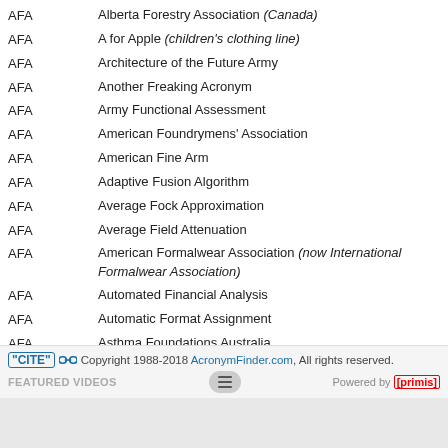AFA — Alberta Forestry Association (Canada)
AFA — A for Apple (children's clothing line)
AFA — Architecture of the Future Army
AFA — Another Freaking Acronym
AFA — Army Functional Assessment
AFA — American Foundrymens' Association
AFA — American Fine Arm
AFA — Adaptive Fusion Algorithm
AFA — Average Fock Approximation
AFA — Average Field Attenuation
AFA — American Formalwear Association (now International Formalwear Association)
AFA — Automated Financial Analysis
AFA — Automatic Format Assignment
AFA — Asthma Foundations Australia
"CITE" [link] Copyright 1988-2018 AcronymFinder.com, All rights reserved. FEATURED VIDEOS Powered by [primis]